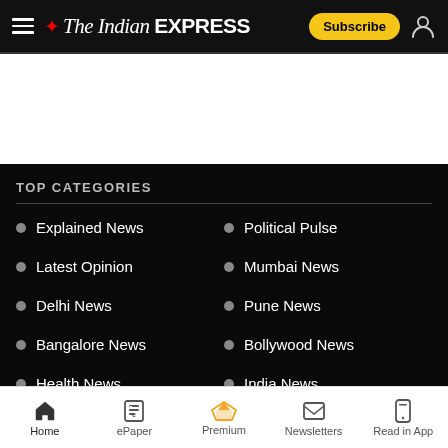The Indian Express — Subscribe / User
[Figure (other): White advertisement placeholder area]
TOP CATEGORIES
Explained News
Political Pulse
Latest Opinion
Mumbai News
Delhi News
Pune News
Bangalore News
Bollywood News
Health News
India News
Home | ePaper | Premium | Newsletters | Read in App